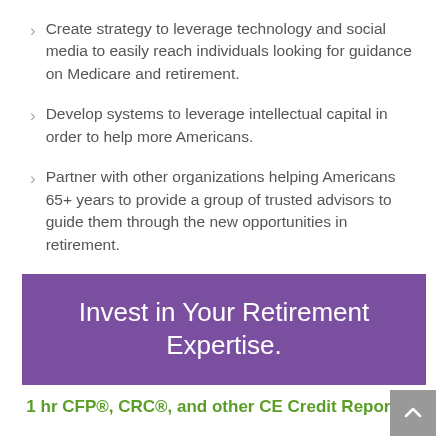Create strategy to leverage technology and social media to easily reach individuals looking for guidance on Medicare and retirement.
Develop systems to leverage intellectual capital in order to help more Americans.
Partner with other organizations helping Americans 65+ years to provide a group of trusted advisors to guide them through the new opportunities in retirement.
Invest in Your Retirement Expertise.
1 hr CFP®, CRC®, and other CE Credit Reporting